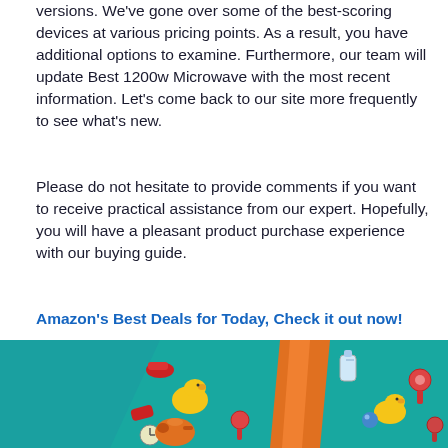versions. We've gone over some of the best-scoring devices at various pricing points. As a result, you have additional options to examine. Furthermore, our team will update Best 1200w Microwave with the most recent information. Let's come back to our site more frequently to see what's new.
Please do not hesitate to provide comments if you want to receive practical assistance from our expert. Hopefully, you will have a pleasant product purchase experience with our buying guide.
Amazon's Best Deals for Today, Check it out now!
[Figure (photo): A teal/blue gift wrap or fabric with baby-themed illustrations including rubber ducks, baby bottles, rattles, and an orange ribbon or bow in the center.]